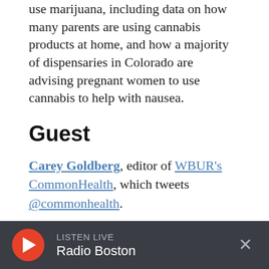use marijuana, including data on how many parents are using cannabis products at home, and how a majority of dispensaries in Colorado are advising pregnant women to use cannabis to help with nausea.
Guest
Carey Goldberg, editor of WBUR's CommonHealth, which tweets @commonhealth.
Interview Highlights
LISTEN LIVE Radio Boston